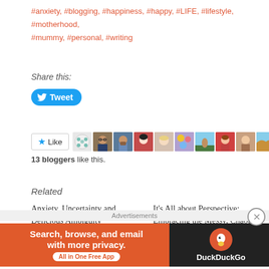#anxiety, #blogging, #happiness, #happy, #LIFE, #lifestyle, #motherhood, #mummy, #personal, #writing
Share this:
[Figure (other): Tweet button with Twitter bird icon]
[Figure (other): Like button with star icon and 10 blogger avatar thumbnails]
13 bloggers like this.
Related
Anxiety, Uncertainty and Delicious Ambiguity
It's All about Perspective: Embracing the Messy, Chaotic and Imperfect
Advertisements
[Figure (infographic): DuckDuckGo advertisement banner: Search, browse, and email with more privacy. All in One Free App]